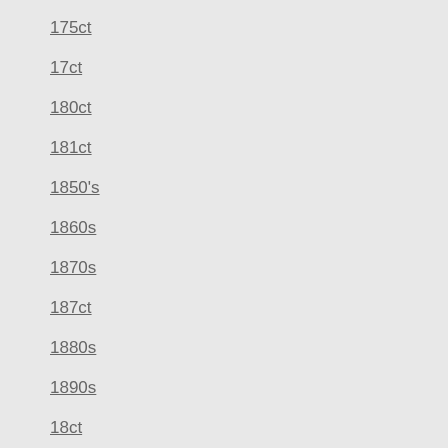175ct
17ct
180ct
181ct
1850's
1860s
1870s
187ct
1880s
1890s
18ct
18ct18k